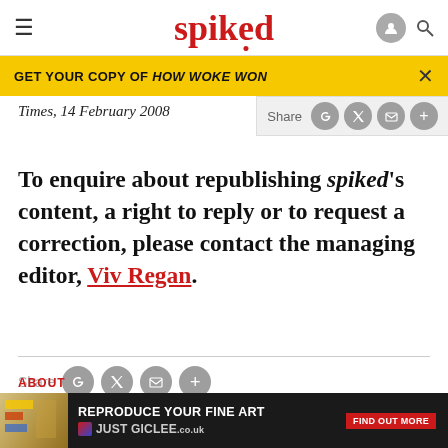spiked
GET YOUR COPY OF HOW WOKE WON
Times, 14 February 2008
To enquire about republishing spiked's content, a right to reply or to request a correction, please contact the managing editor, Viv Regan.
Share
Topics  POLITICS
ABOUT
[Figure (screenshot): Advertisement banner: REPRODUCE YOUR FINE ART / JUST GICLEE with FIND OUT MORE button]